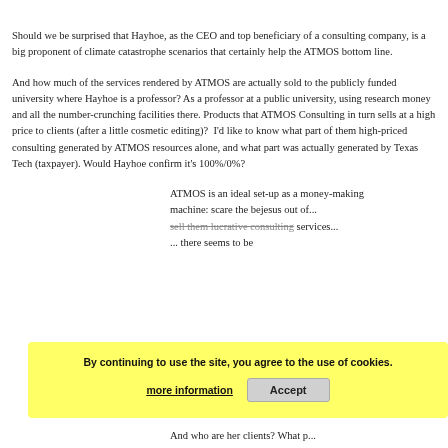Should we be surprised that Hayhoe, as the CEO and top beneficiary of a consulting company, is a big proponent of climate catastrophe scenarios that certainly help the ATMOS bottom line.
And how much of the services rendered by ATMOS are actually sold to the publicly funded university where Hayhoe is a professor? As a professor at a public university, using research money and all the number-crunching facilities there. Products that ATMOS Consulting in turn sells at a high price to clients (after a little cosmetic editing)? I'd like to know what part of them high-priced consulting reports was generated by ATMOS resources alone, and what part was actually generated by Texas Tech (taxpayer). Would Hayhoe confirm it's 100%/0%?
ATMOS is an ideal set-up as a money-making machine: scare the bejesus out of... sell them lucrative consulting services... there seems to be...
And who are her clients? What p...
By continuing to use the site, you agree to the use of cookies.
more information
Accept